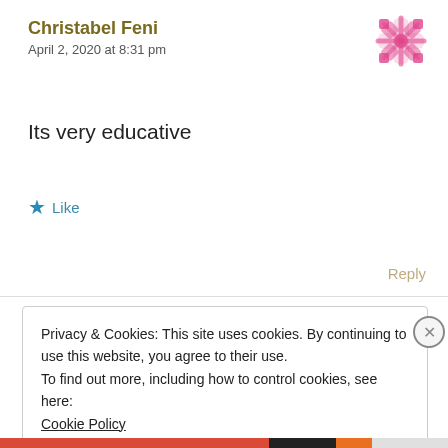Christabel Feni
April 2, 2020 at 8:31 pm
[Figure (logo): Pink decorative snowflake/knot avatar icon in top right corner]
Its very educative
★ Like
Reply
Privacy & Cookies: This site uses cookies. By continuing to use this website, you agree to their use.
To find out more, including how to control cookies, see here:
Cookie Policy
Close and accept